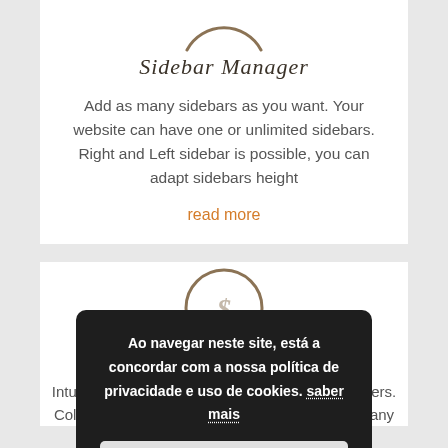[Figure (logo): Circular logo arc (top half of circle in brown/tan) above 'Sidebar Manager' title]
Sidebar Manager
Add as many sidebars as you want. Your website can have one or unlimited sidebars. Right and Left sidebar is possible, you can adapt sidebars height
read more
[Figure (logo): Circular logo (partially visible, brown) overlaid by cookie consent dialog]
Ao navegar neste site, está a concordar com a nossa política de privacidade e uso de cookies. saber mais
Aceitar
Intuitive for beginners, powerful for advanced users. Collection of adaptable elements ready to build any